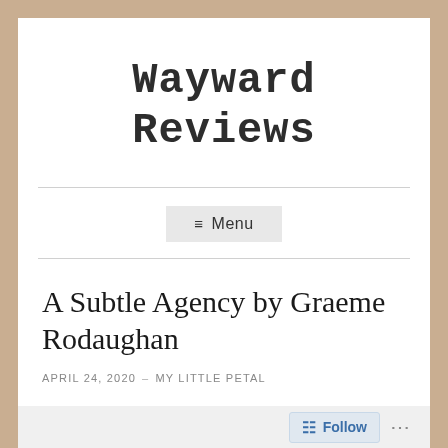Wayward Reviews
≡ Menu
A Subtle Agency by Graeme Rodaughan
APRIL 24, 2020  –  MY LITTLE PETAL
Follow